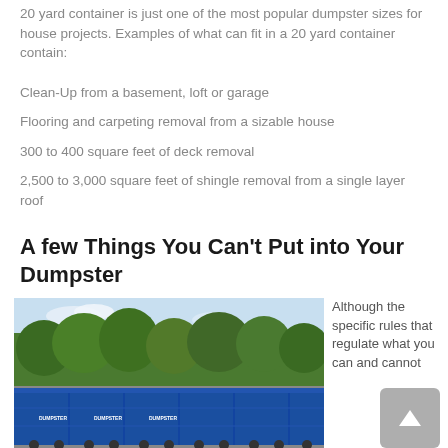20 yard container is just one of the most popular dumpster sizes for house projects. Examples of what can fit in a 20 yard container contain:
Clean-Up from a basement, loft or garage
Flooring and carpeting removal from a sizable house
300 to 400 square feet of deck removal
2,500 to 3,000 square feet of shingle removal from a single layer roof
A few Things You Can't Put into Your Dumpster
[Figure (photo): Blue dumpsters/containers in a parking lot with trees in the background]
Although the specific rules that regulate what you can and cannot